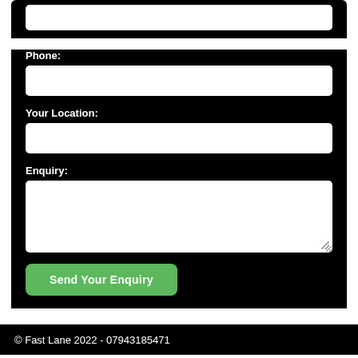Phone:
Your Location:
Enquiry:
Send Your Enquiry
© Fast Lane 2022 - 07943185471